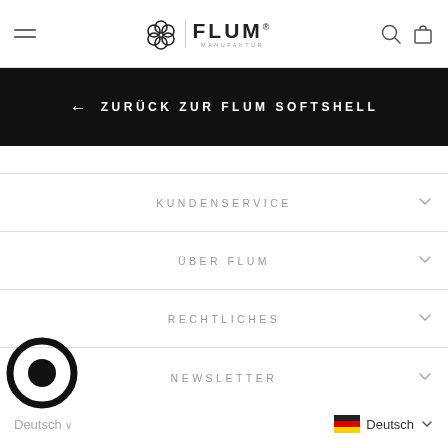FLUM Manufaktur — Navigation header with menu, logo, search and cart icons
← ZURÜCK ZUR FLUM SOFTSHELL
KUNDENSERVICE
ÜBER FLUM
RECHTLICHES
NEWSLETTER
Deutsch